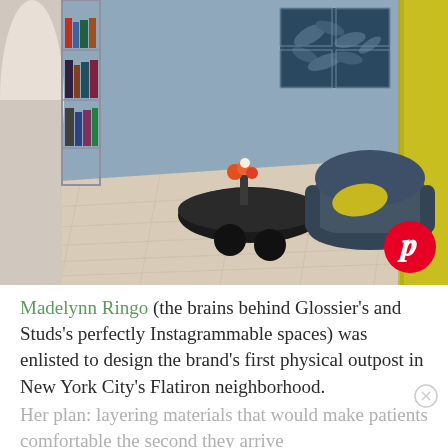[Figure (photo): Interior design photo of a stylish room with light wood floors, blue-painted walls, a dark rounded armchair with a yellow pillow, a black sculptural coffee table with flowers, a glass bookshelf on the left, blue botanical artwork on the wall, and a yellow curtain on the right. A Pinterest logo badge appears in the bottom-right corner of the photo.]
Madelynn Ringo (the brains behind Glossier's and Studs's perfectly Instagrammable spaces) was enlisted to design the brand's first physical outpost in New York City's Flatiron neighborhood. Her plan: layering materials that would make patients comfortable the second they arrive